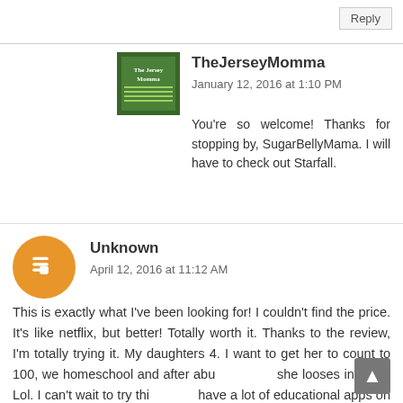Reply
TheJerseyMomma
January 12, 2016 at 1:10 PM
You're so welcome! Thanks for stopping by, SugarBellyMama. I will have to check out Starfall.
Unknown
April 12, 2016 at 11:12 AM
This is exactly what I've been looking for! I couldn't find the price. It's like netflix, but better! Totally worth it. Thanks to the review, I'm totally trying it. My daughters 4. I want to get her to count to 100, we homeschool and after abu she looses interest. Lol. I can't wait to try this have a lot of educational apps on her tablet, but